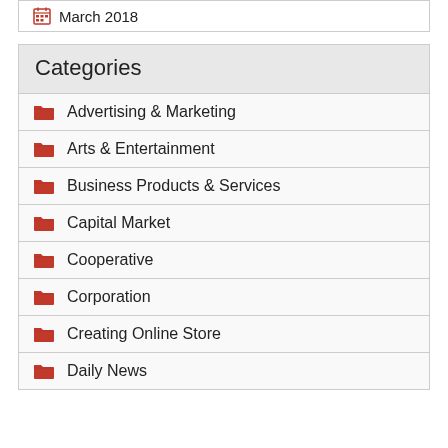March 2018
Categories
Advertising & Marketing
Arts & Entertainment
Business Products & Services
Capital Market
Cooperative
Corporation
Creating Online Store
Daily News